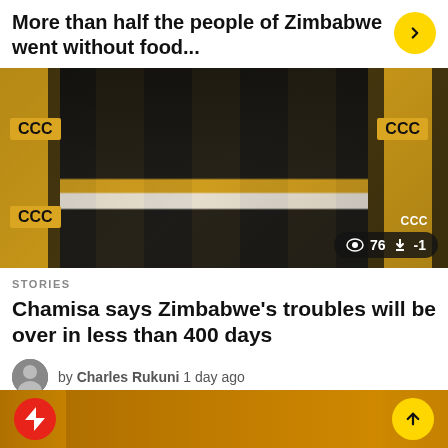More than half the people of Zimbabwe went without food...
[Figure (photo): Person in dark suit with yellow tie standing in front of yellow CCC (Citizens Coalition for Change) party banners, pointing finger upward. Engagement stats shown: 76 views, -1 downvotes.]
STORIES
Chamisa says Zimbabwe's troubles will be over in less than 400 days
by Charles Rukuni  1 day ago
[Figure (photo): Bottom strip showing a red lightning bolt circle icon on the left and partially visible image in the center, with a yellow upward arrow circle button on the right.]